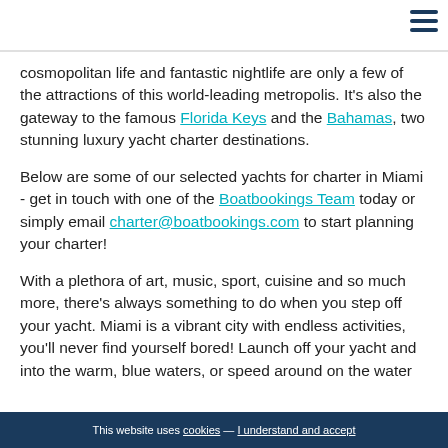cosmopolitan life and fantastic nightlife are only a few of the attractions of this world-leading metropolis. It's also the gateway to the famous Florida Keys and the Bahamas, two stunning luxury yacht charter destinations.
Below are some of our selected yachts for charter in Miami - get in touch with one of the Boatbookings Team today or simply email charter@boatbookings.com to start planning your charter!
With a plethora of art, music, sport, cuisine and so much more, there's always something to do when you step off your yacht. Miami is a vibrant city with endless activities, you'll never find yourself bored! Launch off your yacht and into the warm, blue waters, or speed around on the water
This website uses cookies — I understand and accept